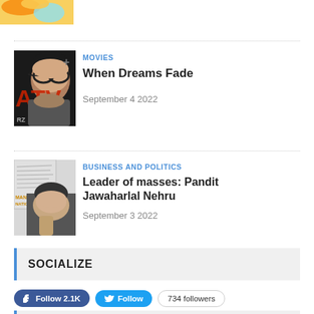[Figure (photo): Partial colorful image at top left corner, cut off]
[Figure (photo): Black and white photo of a woman with large round sunglasses, overlaid with red text letters and RZ watermark]
MOVIES
When Dreams Fade
September 4 2022
[Figure (photo): Composite image of handwritten documents and a black and white portrait of a man in contemplation]
BUSINESS AND POLITICS
Leader of masses: Pandit Jawaharlal Nehru
September 3 2022
SOCIALIZE
Follow 2.1K
Follow
734 followers
POPULAR ARTICLES